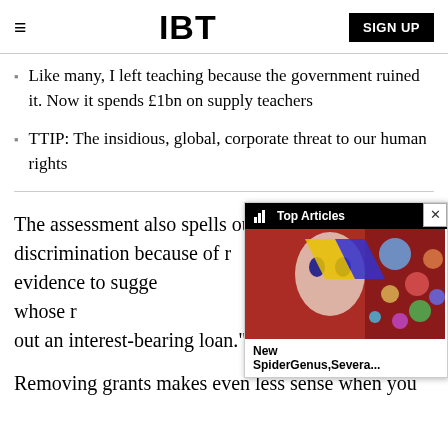IBT
Like many, I left teaching because the government ruined it. Now it spends £1bn on supply teachers
TTIP: The insidious, global, corporate threat to our human rights
The assessment also spells out the potential for discrimination because of r... "There is evidence to sugge... of Muslim students whose r... from taking out an interest-bearing loan."
Removing grants makes even less sense when you